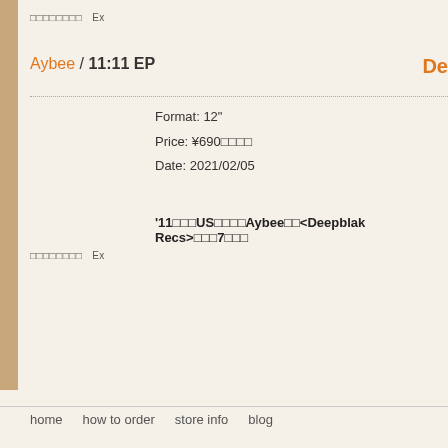□□□□□□□□   Ex
Aybee / 11:11 EP
Format: 12"
Price: ¥690□□□□
Date: 2021/02/05
'11□□□US□□□□Aybee□□<Deepblak Recs>□□□7□□□
□□□□□□□□   Ex
home   how to order   store info   blog